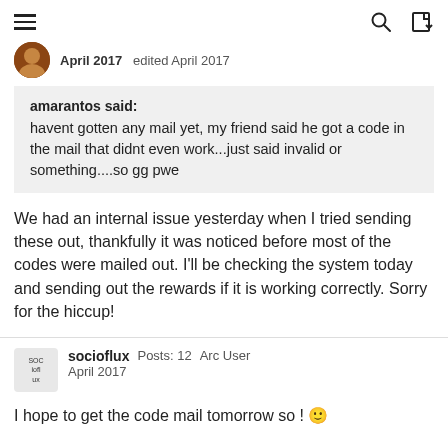Navigation header with hamburger menu, search icon, and login icon
April 2017   edited April 2017
amarantos said:
havent gotten any mail yet, my friend said he got a code in the mail that didnt even work...just said invalid or something....so gg pwe
We had an internal issue yesterday when I tried sending these out, thankfully it was noticed before most of the codes were mailed out. I'll be checking the system today and sending out the rewards if it is working correctly. Sorry for the hiccup!
socioflux   Posts: 12   Arc User
April 2017
I hope to get the code mail tomorrow so ! 🙂